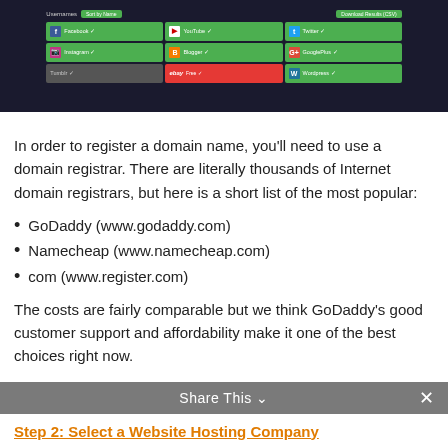[Figure (screenshot): Screenshot of a username availability checker tool showing a dark interface with a grid of social media platforms including Facebook, YouTube, Twitter, Instagram, Blogger, Google+, and others highlighted in green to indicate availability.]
In order to register a domain name, you'll need to use a domain registrar. There are literally thousands of Internet domain registrars, but here is a short list of the most popular:
GoDaddy (www.godaddy.com)
Namecheap (www.namecheap.com)
com (www.register.com)
The costs are fairly comparable but we think GoDaddy's good customer support and affordability make it one of the best choices right now.
Step 2: Select a Website Hosting Company